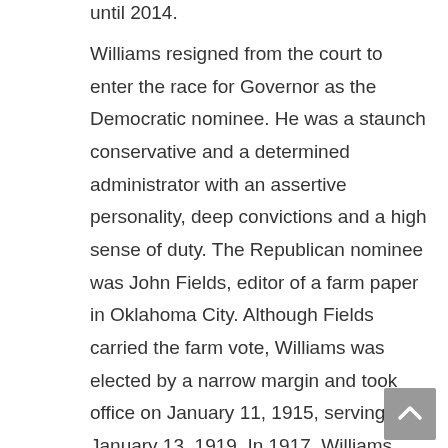until 2014.
Williams resigned from the court to enter the race for Governor as the Democratic nominee. He was a staunch conservative and a determined administrator with an assertive personality, deep convictions and a high sense of duty. The Republican nominee was John Fields, editor of a farm paper in Oklahoma City. Although Fields carried the farm vote, Williams was elected by a narrow margin and took office on January 11, 1915, serving until January 13, 1919. In 1917, Williams became the first governor to work in the new state capitol building, situated in northeast Oklahoma City.